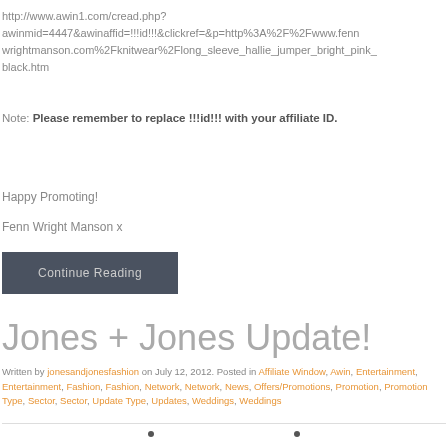http://www.awin1.com/cread.php?awinmid=4447&awinaffid=!!!id!!!&clickref=&p=http%3A%2F%2Fwww.fennwrightmanson.com%2Fknitwear%2Flong_sleeve_hallie_jumper_bright_pink_black.htm
Note: Please remember to replace !!!id!!! with your affiliate ID.
Happy Promoting!
Fenn Wright Manson x
Continue Reading
Jones + Jones Update!
Written by jonesandjonesfashion on July 12, 2012. Posted in Affiliate Window, Awin, Entertainment, Entertainment, Fashion, Fashion, Network, Network, News, Offers/Promotions, Promotion, Promotion Type, Sector, Sector, Update Type, Updates, Weddings, Weddings